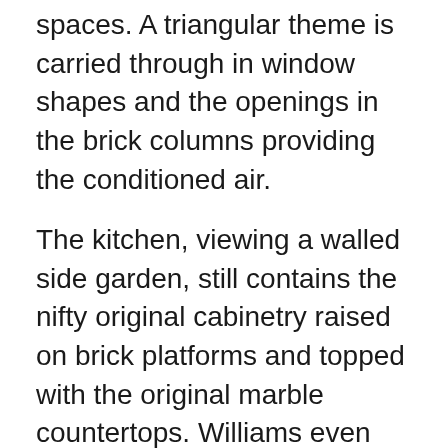spaces. A triangular theme is carried through in window shapes and the openings in the brick columns providing the conditioned air.
The kitchen, viewing a walled side garden, still contains the nifty original cabinetry raised on brick platforms and topped with the original marble countertops. Williams even incorporated a chess game board into the terrazo floor at the base of the stairway for his sons. Since we last saw the house, the original terrazzo floors that had been hidden by carpet and dark wooden flooring have been unearthed and the wall between the kitchen and dining area has been removed, returning the architect's original vision of the house.